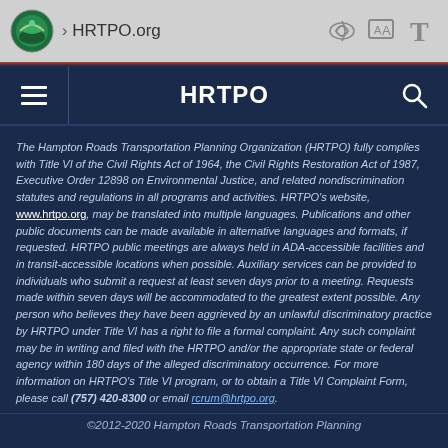[Figure (screenshot): Browser address bar showing HRTPO.org with EPA-style circular logo and browser navigation icons]
HRTPO
The Hampton Roads Transportation Planning Organization (HRTPO) fully complies with Title VI of the Civil Rights Act of 1964, the Civil Rights Restoration Act of 1987, Executive Order 12898 on Environmental Justice, and related nondiscrimination statutes and regulations in all programs and activities. HRTPO's website, www.hrtpo.org, may be translated into multiple languages. Publications and other public documents can be made available in alternative languages and formats, if requested. HRTPO public meetings are always held in ADA-accessible facilities and in transit-accessible locations when possible. Auxiliary services can be provided to individuals who submit a request at least seven days prior to a meeting. Requests made within seven days will be accommodated to the greatest extent possible. Any person who believes they have been aggrieved by an unlawful discriminatory practice by HRTPO under Title VI has a right to file a formal complaint. Any such complaint may be in writing and filed with the HRTPO and/or the appropriate state or federal agency within 180 days of the alleged discriminatory occurrence. For more information on HRTPO's Title VI program, or to obtain a Title VI Complaint Form, please call (757) 420-8300 or email rcrum@hrtpo.org.
©2012-2020 Hampton Roads Transportation Planning